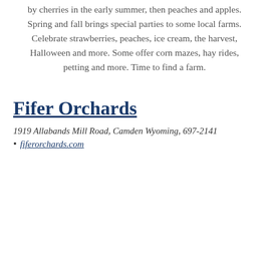by cherries in the early summer, then peaches and apples. Spring and fall brings special parties to some local farms. Celebrate strawberries, peaches, ice cream, the harvest, Halloween and more. Some offer corn mazes, hay rides, petting and more. Time to find a farm.
Fifer Orchards
1919 Allabands Mill Road, Camden Wyoming, 697-2141
fiferorchards.com